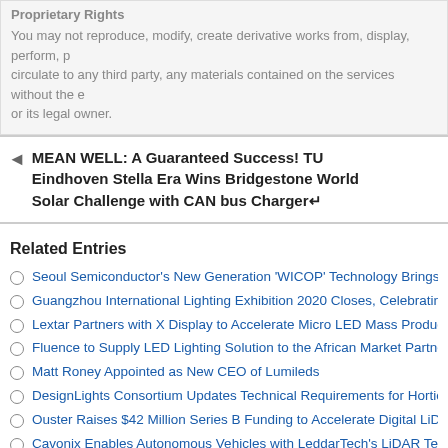Proprietary Rights
You may not reproduce, modify, create derivative works from, display, perform, circulate to any third party, any materials contained on the services without the express prior written consent of the site owner or its legal owner.
MEAN WELL: A Guaranteed Success! TU Eindhoven Stella Era Wins Bridgestone World Solar Challenge with CAN bus Charger
Related Entries
Seoul Semiconductor's New Generation 'WICOP' Technology Brings Innov...
Guangzhou International Lighting Exhibition 2020 Closes, Celebrating 25 Y...
Lextar Partners with X Display to Accelerate Micro LED Mass Production
Fluence to Supply LED Lighting Solution to the African Market Partnering ...
Matt Roney Appointed as New CEO of Lumileds
DesignLights Consortium Updates Technical Requirements for Horticultura...
Ouster Raises $42 Million Series B Funding to Accelerate Digital LiDAR Ac...
Cavonix Enables Autonomous Vehicles with LeddarTech's LiDAR Technol...
Combining LiDAR Sensor and Video Management Software for Advanced...
Allegro MicroSystems Acquires LiDAR Sensor Maker Voxtel to Drive ADA...